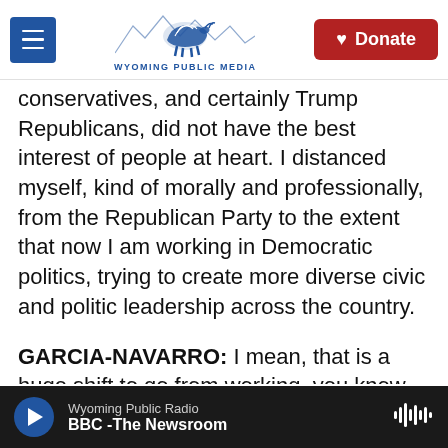Wyoming Public Media | Donate
conservatives, and certainly Trump Republicans, did not have the best interest of people at heart. I distanced myself, kind of morally and professionally, from the Republican Party to the extent that now I am working in Democratic politics, trying to create more diverse civic and politic leadership across the country.
GARCIA-NAVARRO: I mean, that is a huge shift to go from working, you know, for a very conservative organization, which is the one that you worked for, to now working in the Democratic space. What was the thing that really changed your mind?
Wyoming Public Radio | BBC - The Newsroom